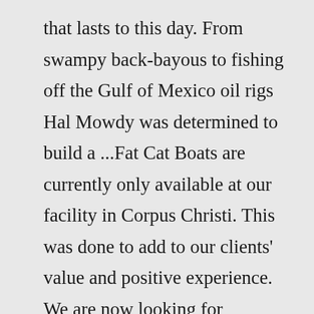that lasts to this day. From swampy back-bayous to fishing off the Gulf of Mexico oil rigs Hal Mowdy was determined to build a ...Fat Cat Boats are currently only available at our facility in Corpus Christi. This was done to add to our clients' value and positive experience. We are now looking for qualified dealers in the Texas Valley, Houston, and Louisiana areas. Please contact Capt. Chip at 361-244-7714 for